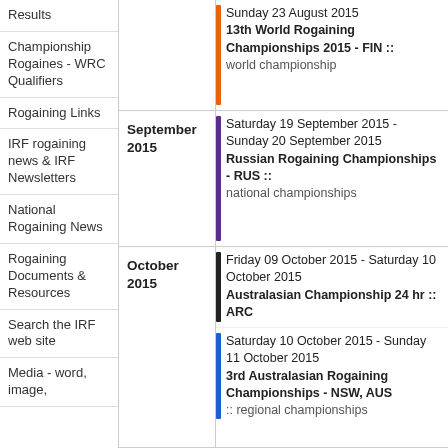Results
Championship Rogaines - WRC Qualifiers
Rogaining Links
IRF rogaining news & IRF Newsletters
National Rogaining News
Rogaining Documents & Resources
Search the IRF web site
Media - word, image,
Sunday 23 August 2015
13th World Rogaining Championships 2015 - FIN :: world championship
Saturday 19 September 2015 - Sunday 20 September 2015
Russian Rogaining Championships - RUS :: national championships
Friday 09 October 2015 - Saturday 10 October 2015
Australasian Championship 24 hr :: ARC
Saturday 10 October 2015 - Sunday 11 October 2015
3rd Australasian Rogaining Championships - NSW, AUS :: regional championships